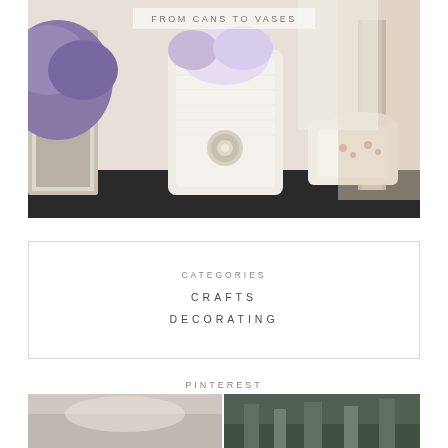[Figure (photo): Decorative vase styled with white lace/embossed fabric with a jeweled brooch, flanked by ornate silver mirrors and floral-patterned teaware on a dark tray]
FROM CANS TO VASES
CATEGORIES
CRAFTS
DECORATING
PINTEREST
[Figure (photo): Two small thumbnail images below the Pinterest heading: left is a light-toned lifestyle image, right is a darker green-toned outdoor or garden image]